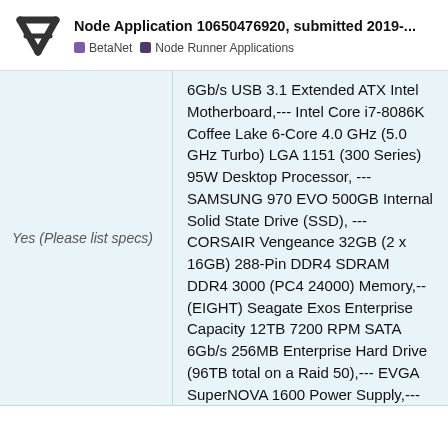Node Application 10650476920, submitted 2019-...
BetaNet  Node Runner Applications
Yes (Please list specs)
6Gb/s USB 3.1 Extended ATX Intel Motherboard,--- Intel Core i7-8086K Coffee Lake 6-Core 4.0 GHz (5.0 GHz Turbo) LGA 1151 (300 Series) 95W Desktop Processor, --- SAMSUNG 970 EVO 500GB Internal Solid State Drive (SSD), --- CORSAIR Vengeance 32GB (2 x 16GB) 288-Pin DDR4 SDRAM DDR4 3000 (PC4 24000) Memory,--(EIGHT) Seagate Exos Enterprise Capacity 12TB 7200 RPM SATA 6Gb/s 256MB Enterprise Hard Drive (96TB total on a Raid 50),--- EVGA SuperNOVA 1600 Power Supply,--- (and the only old/used piece) EVGA GTX 670 video card (The only non brand new piece)